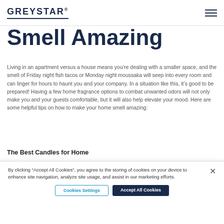GREYSTAR
Smell Amazing
Living in an apartment versus a house means you’re dealing with a smaller space, and the smell of Friday night fish tacos or Monday night moussaka will seep into every room and can linger for hours to haunt you and your company. In a situation like this, it’s good to be prepared! Having a few home fragrance options to combat unwanted odors will not only make you and your guests comfortable, but it will also help elevate your mood. Here are some helpful tips on how to make your home smell amazing:
The Best Candles for Home
[Figure (photo): Photo of candles and home fragrance items on a light background, partially visible]
By clicking “Accept All Cookies”, you agree to the storing of cookies on your device to enhance site navigation, analyze site usage, and assist in our marketing efforts.
Cookies Settings    Accept All Cookies